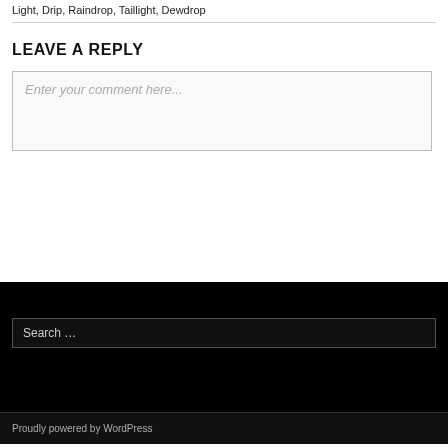Light, Drip, Raindrop, Taillight, Dewdrop
LEAVE A REPLY
Enter your comment here...
Search …
Proudly powered by WordPress